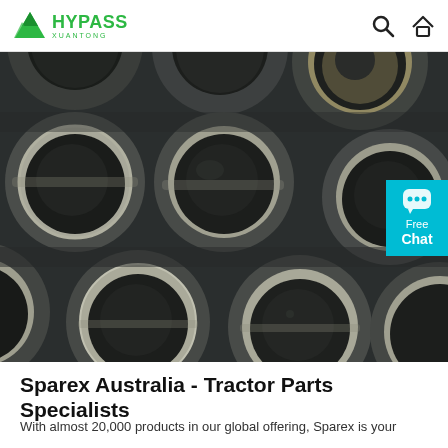HYPASS XUANTONG
[Figure (photo): Close-up photo of multiple large cylindrical metal pipes/tubes stacked together, viewed from the open ends, showing dark metal and circular cross-sections.]
Sparex Australia - Tractor Parts Specialists
With almost 20,000 products in our global offering, Sparex is your